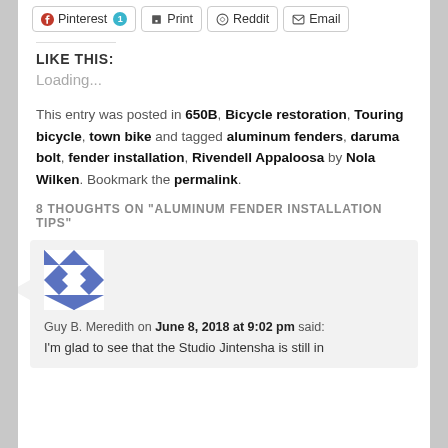Pinterest 1
Print
Reddit
Email
LIKE THIS:
Loading...
This entry was posted in 650B, Bicycle restoration, Touring bicycle, town bike and tagged aluminum fenders, daruma bolt, fender installation, Rivendell Appaloosa by Nola Wilken. Bookmark the permalink.
8 THOUGHTS ON "ALUMINUM FENDER INSTALLATION TIPS"
Guy B. Meredith on June 8, 2018 at 9:02 pm said:
I'm glad to see that the Studio Jintensha is still in